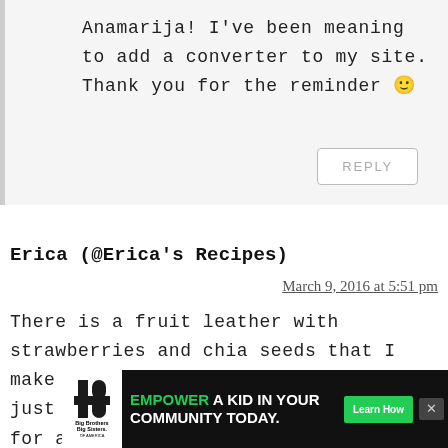Anamarija! I've been meaning to add a converter to my site. Thank you for the reminder 🙂
REPLY
Erica (@Erica's Recipes)
March 9, 2016 at 5:51 pm
There is a fruit leather with strawberries and chia seeds that I make that I very similar to your jam, just spread on parchment and baked for a
[Figure (infographic): Big Brothers Big Sisters advertisement banner: 'EMPOWER A KID IN YOUR COMMUNITY TODAY.' with a Learn How button and close button]